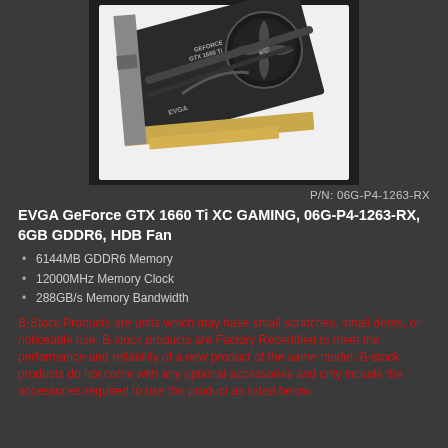[Figure (photo): EVGA GeForce GTX 1660 Ti XC GAMING graphics card shown at an angle, with black shroud, single fan, and gold PCIe connectors visible]
P/N: 06G-P4-1263-RX
EVGA GeForce GTX 1660 Ti XC GAMING, 06G-P4-1263-RX, 6GB GDDR6, HDB Fan
6144MB GDDR6 Memory
12000MHz Memory Clock
288GB/s Memory Bandwidth
B-Stock Products are units which may have small scratches, small dents, or noticeable use. B-stock products are Factory Recertified to meet the performance and reliability of a new product of the same model. B-stock products do not come with any optional accessories and only include the accessories required to use the product as listed below.